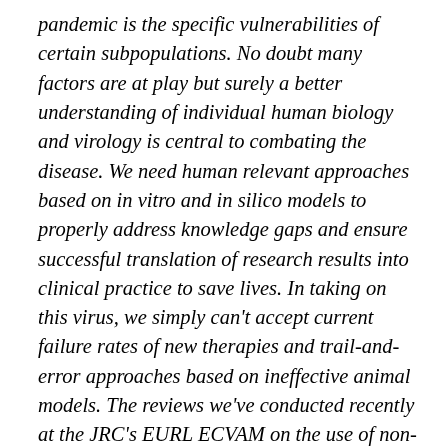pandemic is the specific vulnerabilities of certain subpopulations. No doubt many factors are at play but surely a better understanding of individual human biology and virology is central to combating the disease. We need human relevant approaches based on in vitro and in silico models to properly address knowledge gaps and ensure successful translation of research results into clinical practice to save lives. In taking on this virus, we simply can't accept current failure rates of new therapies and trail-and-error approaches based on ineffective animal models. The reviews we've conducted recently at the JRC's EURL ECVAM on the use of non-animal models and methods in biomedical disease-related research clearly show that alternatives are indeed fit to study